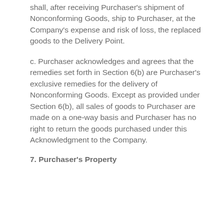shall, after receiving Purchaser's shipment of Nonconforming Goods, ship to Purchaser, at the Company's expense and risk of loss, the replaced goods to the Delivery Point.
c. Purchaser acknowledges and agrees that the remedies set forth in Section 6(b) are Purchaser's exclusive remedies for the delivery of Nonconforming Goods. Except as provided under Section 6(b), all sales of goods to Purchaser are made on a one-way basis and Purchaser has no right to return the goods purchased under this Acknowledgment to the Company.
7. Purchaser's Property